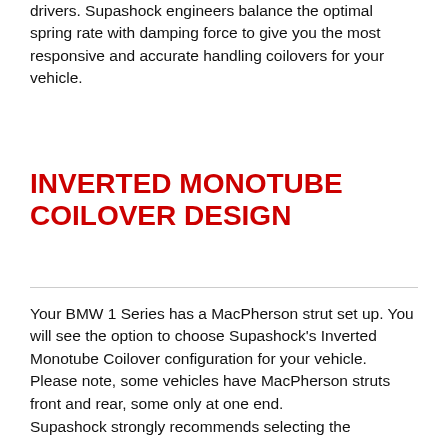drivers. Supashock engineers balance the optimal spring rate with damping force to give you the most responsive and accurate handling coilovers for your vehicle.
INVERTED MONOTUBE COILOVER DESIGN
Your BMW 1 Series has a MacPherson strut set up. You will see the option to choose Supashock's Inverted Monotube Coilover configuration for your vehicle. Please note, some vehicles have MacPherson struts front and rear, some only at one end.
Supashock strongly recommends selecting the Inverted Monotube Coilover configuration for your vehicle.